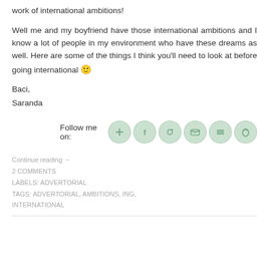work of international ambitions!
Well me and my boyfriend have those international ambitions and I know a lot of people in my environment who have these dreams as well. Here are some of the things I think you'll need to look at before going international 🙂
Baci,
Saranda
[Figure (other): Follow me on: row of social media icon buttons (blurred/watermarked circular icons for various platforms)]
Continue reading →
2 COMMENTS
LABELS: ADVERTORIAL
TAGS: ADVERTORIAL, AMBITIONS, ING, INTERNATIONAL